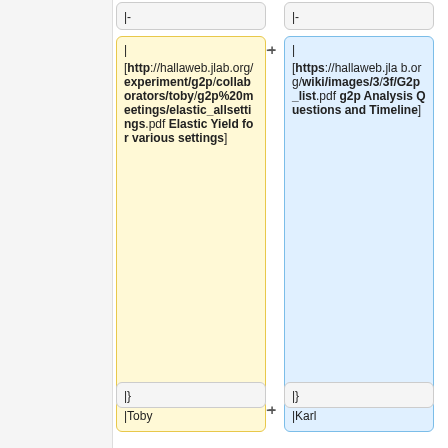|-
|-
[http://hallaweb.jlab.org/experiment/g2p/collaborators/toby/g2p%20meetings/elastic_allsettings.pdf Elastic Yield for various settings]
[https://hallaweb.jlab.org/wiki/images/3/3f/G2p_list.pdf g2p Analysis Questions and Timeline]
|Toby
|Karl
|}
|}
'''Thursday June 28, 2018
'''Wednesday, October 26, 2016
{|border=2
{|border=2
|-bgcolor=Grey
|-bgcolor=Grey
! Topic
! Topic